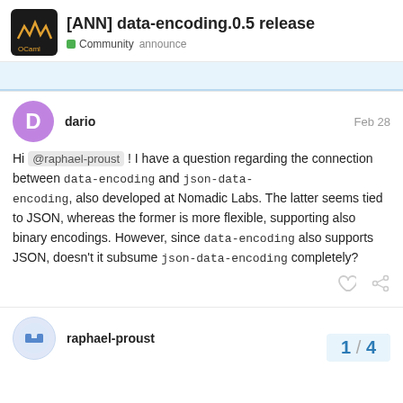[ANN] data-encoding.0.5 release
Community  announce
dario  Feb 28
Hi @raphael-proust ! I have a question regarding the connection between data-encoding and json-data-encoding, also developed at Nomadic Labs. The latter seems tied to JSON, whereas the former is more flexible, supporting also binary encodings. However, since data-encoding also supports JSON, doesn't it subsume json-data-encoding completely?
raphael-proust  Mar 1
1 / 4